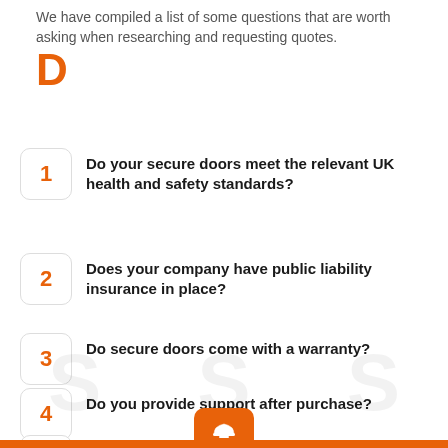We have compiled a list of some questions that are worth asking when researching and requesting quotes.
1 Do your secure doors meet the relevant UK health and safety standards?
2 Does your company have public liability insurance in place?
3 Do secure doors come with a warranty?
4 Do you provide support after purchase?
5 What times of the day can we get in touch?